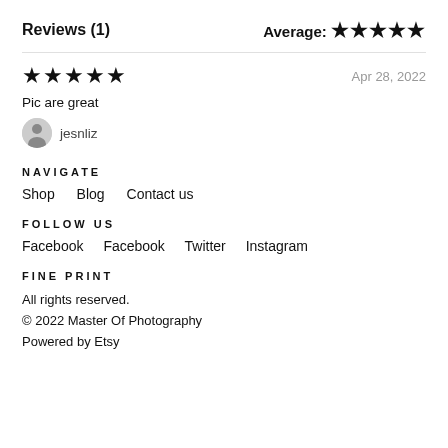Reviews (1)
Average: ★★★★★
★★★★★
Apr 28, 2022
Pic are great
jesnliz
NAVIGATE
Shop
Blog
Contact us
FOLLOW US
Facebook
Facebook
Twitter
Instagram
FINE PRINT
All rights reserved.
© 2022 Master Of Photography
Powered by Etsy